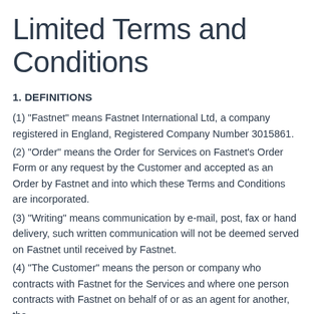Limited Terms and Conditions
1. DEFINITIONS
(1) "Fastnet" means Fastnet International Ltd, a company registered in England, Registered Company Number 3015861.
(2) "Order" means the Order for Services on Fastnet's Order Form or any request by the Customer and accepted as an Order by Fastnet and into which these Terms and Conditions are incorporated.
(3) "Writing" means communication by e-mail, post, fax or hand delivery, such written communication will not be deemed served on Fastnet until received by Fastnet.
(4) "The Customer" means the person or company who contracts with Fastnet for the Services and where one person contracts with Fastnet on behalf of or as an agent for another, the